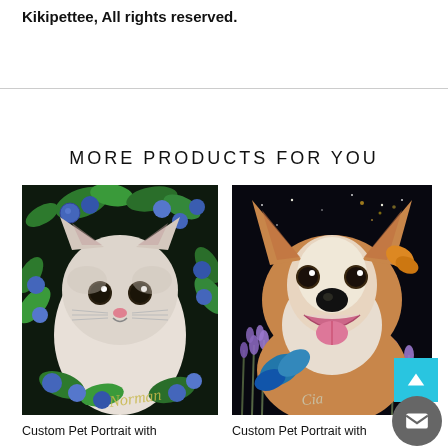Kikipettee, All rights reserved.
MORE PRODUCTS FOR YOU
[Figure (illustration): Custom pet portrait illustration of a fluffy cat surrounded by blueberries and green leaves on a dark background, with cursive text 'Norman' at bottom]
Custom Pet Portrait with
[Figure (illustration): Custom pet portrait illustration of a Corgi dog surrounded by lavender flowers and a butterfly on a dark starry background, with cursive text at bottom]
Custom Pet Portrait with